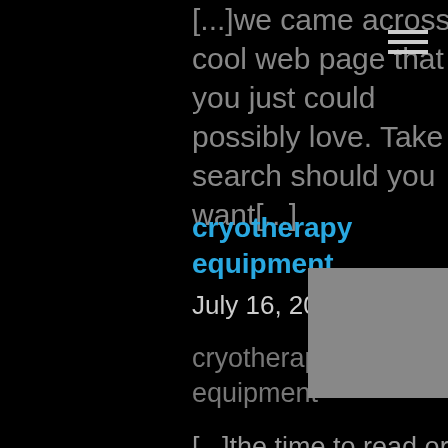[...]we came across a cool web page that you just could possibly love. Take a search should you want[...]
cryotherapy equipment
July 16, 2022 at 3:54 am
cryotherapy equipment
[...]the time to read or take a look at the material or web-sites we have linked